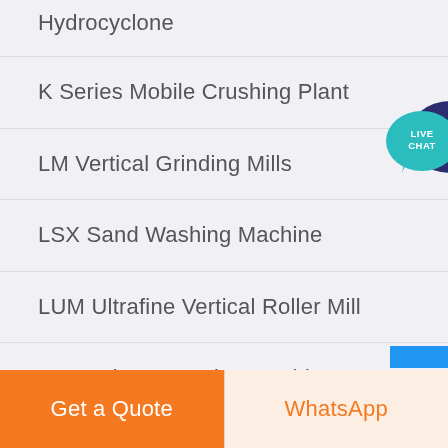Hydrocyclone
K Series Mobile Crushing Plant
LM Vertical Grinding Mills
LSX Sand Washing Machine
LUM Ultrafine Vertical Roller Mill
Magnetic Separation Machine
[Figure (illustration): Live Chat speech bubble button icon in teal/dark blue]
Get a Quote
WhatsApp